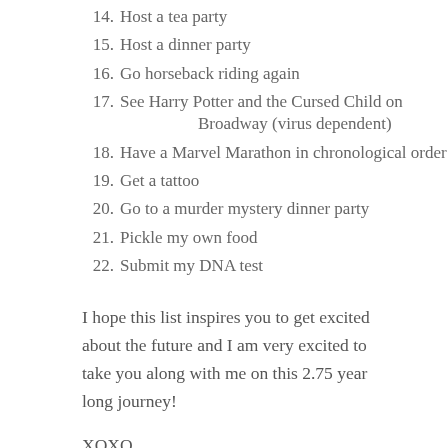14. Host a tea party
15. Host a dinner party
16. Go horseback riding again
17. See Harry Potter and the Cursed Child on Broadway (virus dependent)
18. Have a Marvel Marathon in chronological order
19. Get a tattoo
20. Go to a murder mystery dinner party
21. Pickle my own food
22. Submit my DNA test
I hope this list inspires you to get excited about the future and I am very excited to take you along with me on this 2.75 year long journey!
XOXO